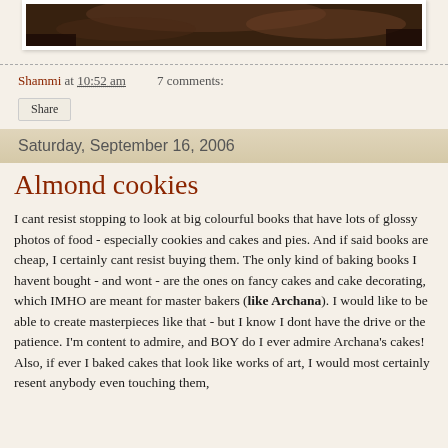[Figure (photo): Top portion of a food photo showing baked goods, dark background]
Shammi at 10:52 am   7 comments:
Share
Saturday, September 16, 2006
Almond cookies
I cant resist stopping to look at big colourful books that have lots of glossy photos of food - especially cookies and cakes and pies. And if said books are cheap, I certainly cant resist buying them. The only kind of baking books I havent bought - and wont - are the ones on fancy cakes and cake decorating, which IMHO are meant for master bakers (like Archana). I would like to be able to create masterpieces like that - but I know I dont have the drive or the patience. I'm content to admire, and BOY do I ever admire Archana's cakes! Also, if ever I baked cakes that look like works of art, I would most certainly resent anybody even touching them,